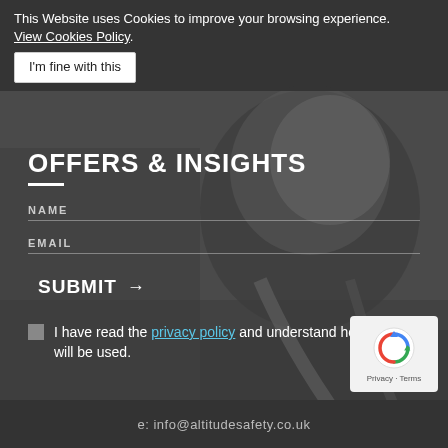This Website uses Cookies to improve your browsing experience. View Cookies Policy. I'm fine with this
[Figure (photo): Grayscale photo of a racing driver in helmet and fireproof suit seated in a racing car cockpit]
OFFERS & INSIGHTS
NAME
EMAIL
SUBMIT →
I have read the privacy policy and understand how my data will be used.
[Figure (logo): Google reCAPTCHA badge with recycling-arrow logo and Privacy · Terms text]
e: info@altitudesafety.co.uk